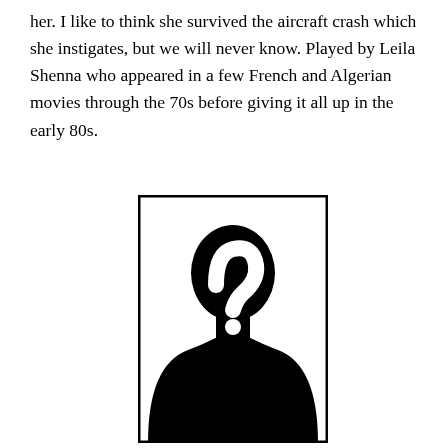her. I like to think she survived the aircraft crash which she instigates, but we will never know. Played by Leila Shenna who appeared in a few French and Algerian movies through the 70s before giving it all up in the early 80s.
[Figure (illustration): Black silhouette of a person (head and shoulders) with a large white question mark symbol overlaid on the face area, framed by a thick black border rectangle on a white background.]